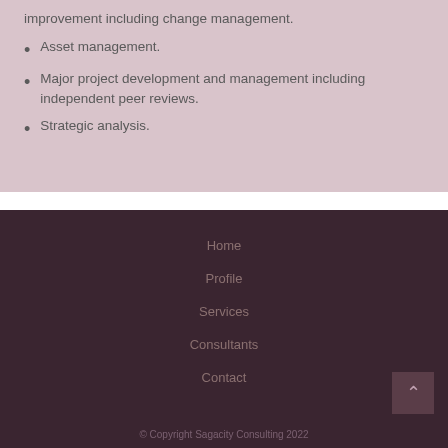improvement including change management.
Asset management.
Major project development and management including independent peer reviews.
Strategic analysis.
Home
Profile
Services
Consultants
Contact
© Copyright Sagacity Consulting 2022